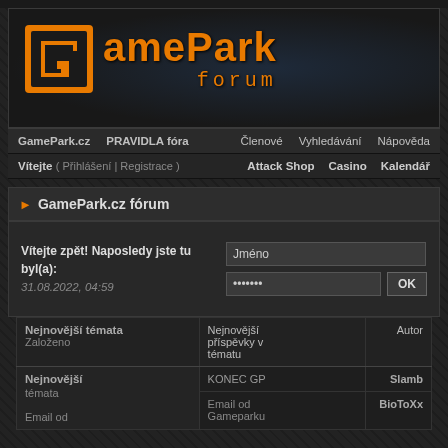[Figure (logo): GamePark Forum logo with orange G bracket icon and orange text 'GamePark' and 'forum' on dark background]
GamePark.cz  PRAVIDLA fóra  Členové  Vyhledávání  Nápověda
Vítejte ( Přihlášení | Registrace )  Attack Shop  Casino  Kalendář
► GamePark.cz fórum
Vítejte zpět! Naposledy jste tu byl(a): 31.08.2022, 04:59
| Nejnovější témata | Založeno | Nejnovější příspěvky v tématu | Autor |
| --- | --- | --- | --- |
| Email od |  | KONEC GP | Slamb |
|  |  | Email od Gameparku | BioToXx |